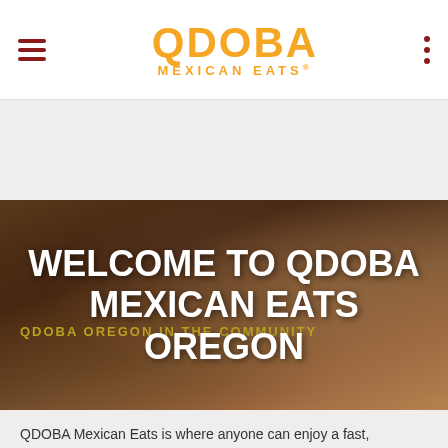[Figure (logo): QDOBA Mexican Eats logo in orange on white nav bar with hamburger menu and dots menu]
[Figure (photo): Hero banner with blurred food background (brown/warm tones) and bold white text overlay]
WELCOME TO QDOBA MEXICAN EATS OREGON
QDOBA OREGON IN THE COMMUNITY
[Figure (logo): Faded watermark Qdoba Mexican Grill logo with italic script Oregon text in olive/yellow-green]
QDOBA Mexican Eats is where anyone can enjoy a fast,